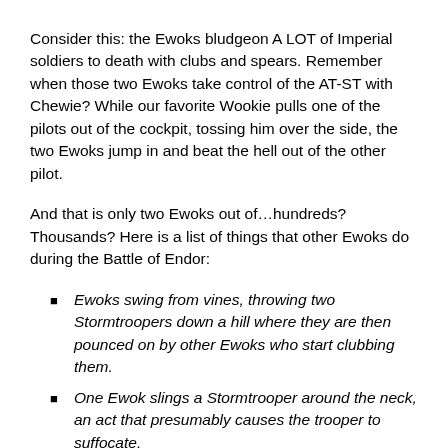Consider this: the Ewoks bludgeon A LOT of Imperial soldiers to death with clubs and spears. Remember when those two Ewoks take control of the AT-ST with Chewie? While our favorite Wookie pulls one of the pilots out of the cockpit, tossing him over the side, the two Ewoks jump in and beat the hell out of the other pilot.
And that is only two Ewoks out of…hundreds? Thousands? Here is a list of things that other Ewoks do during the Battle of Endor:
Ewoks swing from vines, throwing two Stormtroopers down a hill where they are then pounced on by other Ewoks who start clubbing them.
One Ewok slings a Stormtrooper around the neck, an act that presumably causes the trooper to suffocate.
A group sneaks up on Stormtroopers firing at Han and Leia, beating them with clubs and spears (see the featured image at the top of the post).
Other Ewoks lasso a speeder bike with rope, sending the bike